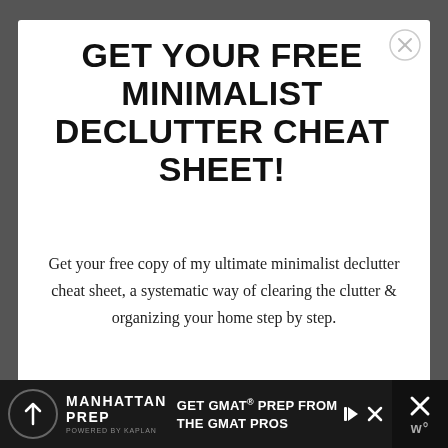GET YOUR FREE MINIMALIST DECLUTTER CHEAT SHEET!
Get your free copy of my ultimate minimalist declutter cheat sheet, a systematic way of clearing the clutter & organizing your home step by step.
[Figure (screenshot): Text input field with placeholder text 'Name']
[Figure (infographic): Manhattan Prep advertisement banner: GET GMAT® PREP FROM THE GMAT PROS]